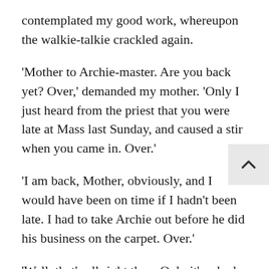contemplated my good work, whereupon the walkie-talkie crackled again.
'Mother to Archie-master. Are you back yet? Over,' demanded my mother. 'Only I just heard from the priest that you were late at Mass last Sunday, and caused a stir when you came in. Over.'
'I am back, Mother, obviously, and I would have been on time if I hadn't been late. I had to take Archie out before he did his business on the carpet. Over.'
'Well, that's all right then. Only it's a bad thing to get a reputation for lateness. It reflects badly. Over.'
'So it does,' I said. 'But let me point out that you